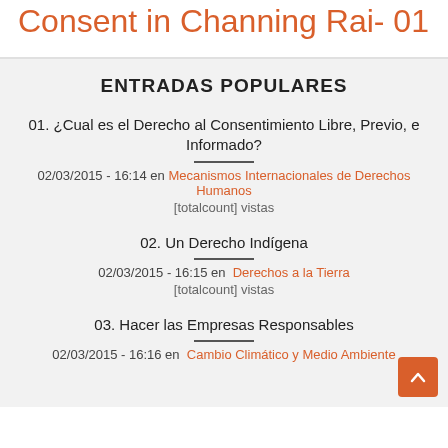Consent in Channing Rai- 01
ENTRADAS POPULARES
01. ¿Cual es el Derecho al Consentimiento Libre, Previo, e Informado?
02/03/2015 - 16:14 en Mecanismos Internacionales de Derechos Humanos
[totalcount] vistas
02. Un Derecho Indígena
02/03/2015 - 16:15 en Derechos a la Tierra
[totalcount] vistas
03. Hacer las Empresas Responsables
02/03/2015 - 16:16 en Cambio Climático y Medio Ambiente